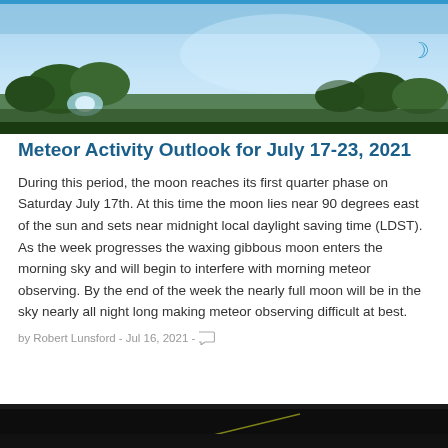[Figure (photo): Wide panoramic photograph showing a sky scene with trees and landscape, light blue sky]
Meteor Activity Outlook for July 17-23, 2021
During this period, the moon reaches its first quarter phase on Saturday July 17th. At this time the moon lies near 90 degrees east of the sun and sets near midnight local daylight saving time (LDST). As the week progresses the waxing gibbous moon enters the morning sky and will begin to interfere with morning meteor observing. By the end of the week the nearly full moon will be in the sky nearly all night long making meteor observing difficult at best.
by Robert Lunsford - Jul 16, 2021 -
[Figure (photo): Dark night sky photograph with a faint diagonal line visible]